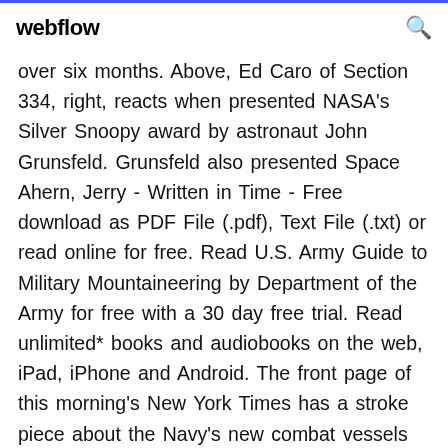webflow
over six months. Above, Ed Caro of Section 334, right, reacts when presented NASA's Silver Snoopy award by astronaut John Grunsfeld. Grunsfeld also presented Space Ahern, Jerry - Written in Time - Free download as PDF File (.pdf), Text File (.txt) or read online for free. Read U.S. Army Guide to Military Mountaineering by Department of the Army for free with a 30 day free trial. Read unlimited* books and audiobooks on the web, iPad, iPhone and Android. The front page of this morning's New York Times has a stroke piece about the Navy's new combat vessels that reads like a page from the technical manual of Gerry Anderson's Thunderbirds!. A listing of arachnids